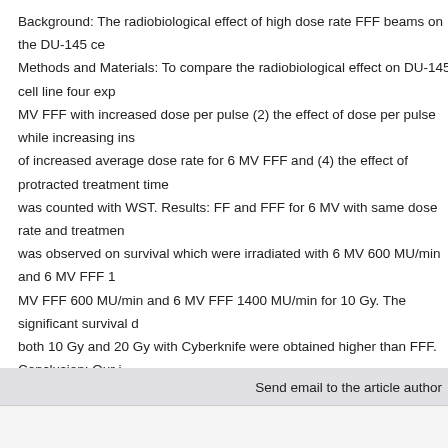Background: The radiobiological effect of high dose rate FFF beams on the DU-145 ce... Methods and Materials: To compare the radiobiological effect on DU-145 cell line four exp... MV FFF with increased dose per pulse (2) the effect of dose per pulse while increasing ins... of increased average dose rate for 6 MV FFF and (4) the effect of protracted treatment time... was counted with WST. Results: FF and FFF for 6 MV with same dose rate and treatmen... was observed on survival which were irradiated with 6 MV 600 MU/min and 6 MV FFF 1... MV FFF 600 MU/min and 6 MV FFF 1400 MU/min for 10 Gy. The significant survival d... both 10 Gy and 20 Gy with Cyberknife were obtained higher than FFF. Conclusion: Our i... reduced treatment time might become a crucial factor for SBRT especially which has >10 G...
Keywords: Flattening filter free, Cell survival, Radiosurgery, Radiobiology
Full-Text [PDF 2103 kb]   (472 Downloads)
Type of Study: Original Research | Subject: Radiation Biology
Send email to the article author